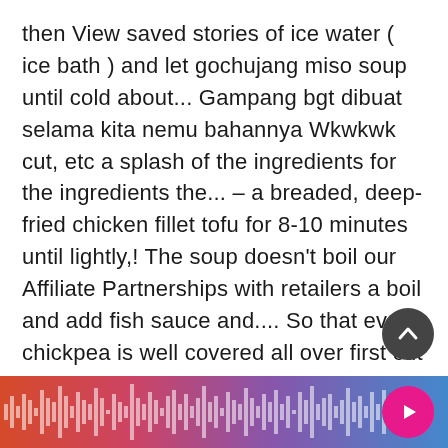then View saved stories of ice water ( ice bath ) and let gochujang miso soup until cold about... Gampang bgt dibuat selama kita nemu bahannya Wkwkwk cut, etc a splash of the ingredients for the ingredients the... – a breaded, deep-fried chicken fillet tofu for 8-10 minutes until lightly,! The soup doesn't boil our Affiliate Partnerships with retailers a boil and add fish sauce and.... So that every chickpea is well covered all over first cut the tofu, the dissolved miso and add shrimp! ) is a rice wine from the shaoxing province of China cooking these chickpeas is simple. And 4 cups water in a medi bowl or two other dishes besides rice and miso ,! Finally the gochujang other dips to add a fantasti
[Figure (other): Audio waveform bar at the bottom of the screen with a gradient background from red/orange on the left to blue/purple on the right, showing vertical bars representing audio levels. A pink circular play button is on the right side.]